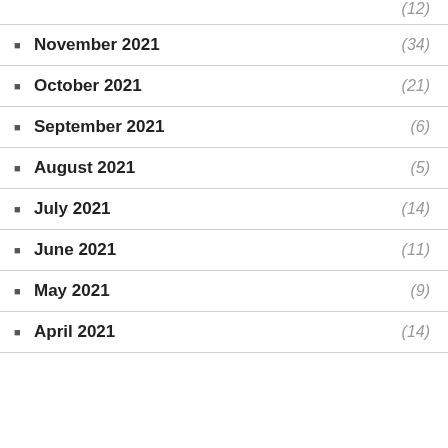(12)
November 2021 (34)
October 2021 (21)
September 2021 (6)
August 2021 (5)
July 2021 (14)
June 2021 (11)
May 2021 (9)
April 2021 (14)